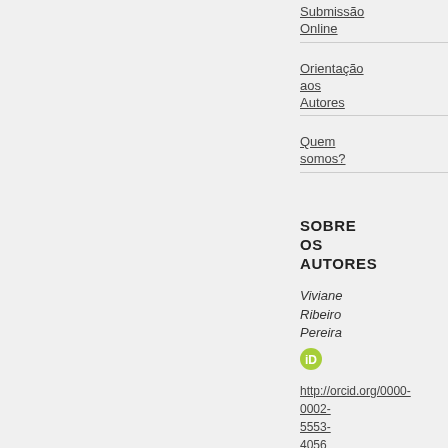Submissão Online
Orientação aos Autores
Quem somos?
SOBRE OS AUTORES
Viviane Ribeiro Pereira
http://orcid.org/0000-0002-5553-4056
Universidade Fedral de Pelotas Brasil
Enfermeira. Mestre